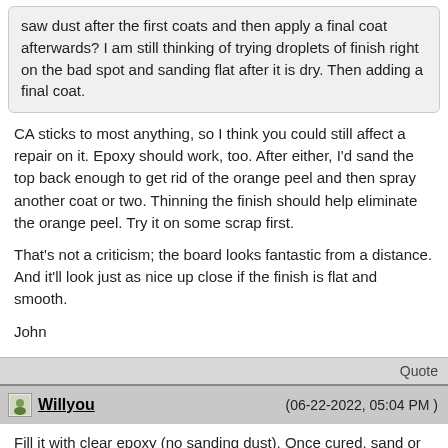saw dust after the first coats and then apply a final coat afterwards?  I am still thinking of trying droplets of finish right on the bad spot and sanding flat after it is dry.  Then adding a final coat.
CA sticks to most anything, so I think you could still affect a repair on it.  Epoxy should work, too.  After either, I'd sand the top back enough to get rid of the orange peel and then spray another coat or two.  Thinning the finish should help eliminate the orange peel.  Try it on some scrap first.

That's not a criticism; the board looks fantastic from a distance.  And it'll look just as nice up close if the finish is flat and smooth.

John
Quote
Willyou  (06-22-2022, 05:04 PM )
Fill it with clear epoxy (no sanding dust). Once cured, sand or scrape it smooth and add a coat or two of finish. it will blend in pretty well.
If you prefer to add some sanding dust, be careful what species and amount you use. You want to use just enough to add color to the epoxy, but keep it somewhat translucent. Also, note that when the dust gets wet with the epoxy it will look darker. So, start with a lighter color dust.